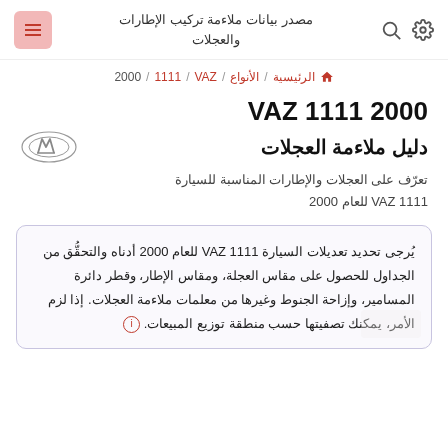مصدر بيانات ملاءمة تركيب الإطارات والعجلات
الرئيسية / الأنواع / VAZ / 1111 / 2000
VAZ 1111 2000
دليل ملاءمة العجلات
تعرّف على العجلات والإطارات المناسبة للسيارة VAZ 1111 للعام 2000
يُرجى تحديد تعديلات السيارة VAZ 1111 للعام 2000 أدناه والتحقُّق من الجداول للحصول على مقاس العجلة، ومقاس الإطار، وقطر دائرة المسامير، وإزاحة الجنوط وغيرها من معلمات ملاءمة العجلات. إذا لزم الأمر، يمكنك تصفيتها حسب منطقة توزيع المبيعات.